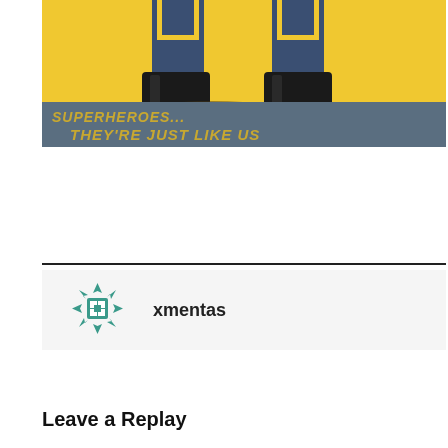[Figure (illustration): Comic-style illustration showing superhero boots/legs on a yellow background with text 'SUPERHEROES... THEY'RE JUST LIKE US' on a gray-blue banner at the bottom]
xmentas
Leave a Replay